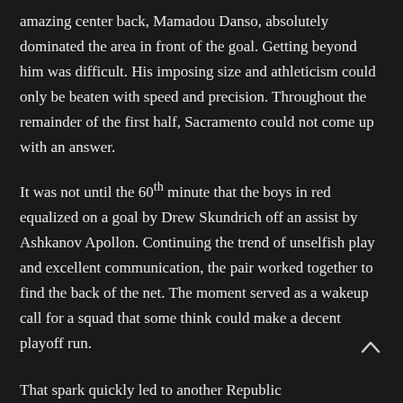amazing center back, Mamadou Danso, absolutely dominated the area in front of the goal. Getting beyond him was difficult. His imposing size and athleticism could only be beaten with speed and precision. Throughout the remainder of the first half, Sacramento could not come up with an answer.
It was not until the 60th minute that the boys in red equalized on a goal by Drew Skundrich off an assist by Ashkanov Apollon. Continuing the trend of unselfish play and excellent communication, the pair worked together to find the back of the net. The moment served as a wakeup call for a squad that some think could make a decent playoff run.
That spark quickly led to another Republic